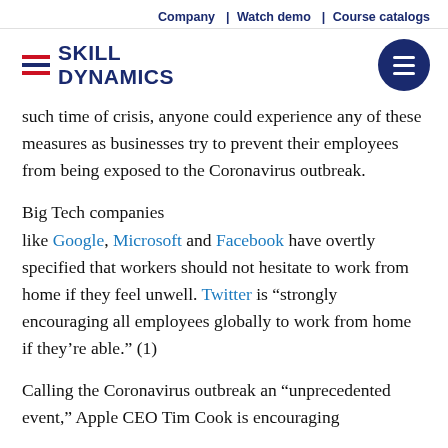Company  |  Watch demo  |  Course catalogs
[Figure (logo): Skill Dynamics logo with red and navy horizontal lines and a hamburger menu button in a dark navy circle on the right]
such time of crisis, anyone could experience any of these measures as businesses try to prevent their employees from being exposed to the Coronavirus outbreak.
Big Tech companies like Google, Microsoft and Facebook have overtly specified that workers should not hesitate to work from home if they feel unwell. Twitter is “strongly encouraging all employees globally to work from home if they’re able.” (1)
Calling the Coronavirus outbreak an “unprecedented event,” Apple CEO Tim Cook is encouraging